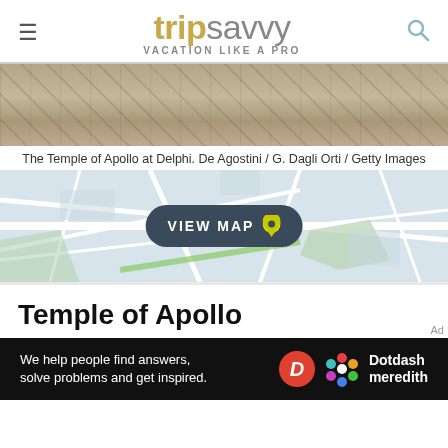tripsavvy VACATION LIKE A PRO
[Figure (photo): Aerial photograph of the Temple of Apollo at Delphi, showing ancient ruins and stone structures from above]
The Temple of Apollo at Delphi. De Agostini / G. Dagli Orti / Getty Images
[Figure (map): Street map with VIEW MAP button and location pin in center]
Temple of Apollo
ADDRESS:
Delphi 330 54,
Greece